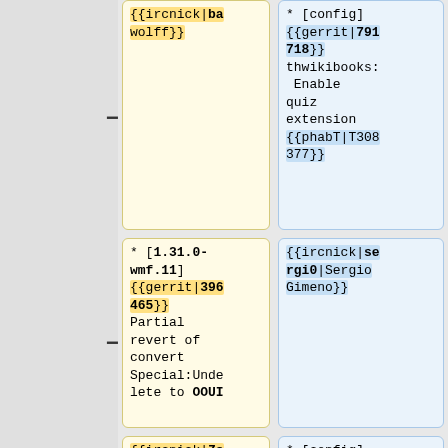{{ircnick|bawolff}}
* [config] {{gerrit|791718}} thwikibooks: Enable quiz extension {{phabT|T308377}}
* [1.31.0-wmf.11] {{gerrit|396465}} Partial revert of convert Special:Undelete to OOUI
{{ircnick|sergi0|Sergio Gimeno}}
{{ircnick|Zoranzoki21}}
* [config] {{gerrit|790650}}